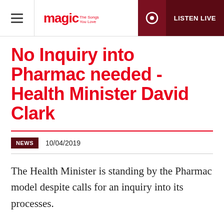magic The Songs You Love | LISTEN LIVE
No Inquiry into Pharmac needed - Health Minister David Clark
NEWS   10/04/2019
The Health Minister is standing by the Pharmac model despite calls for an inquiry into its processes.